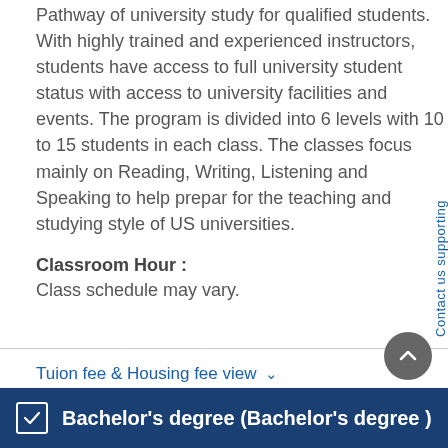Pathway of university study for qualified students. With highly trained and experienced instructors, students have access to full university student status with access to university facilities and events. The program is divided into 6 levels with 10 to 15 students in each class. The classes focus mainly on Reading, Writing, Listening and Speaking to help prepar for the teaching and studying style of US universities.
Classroom Hour :
Class schedule may vary.
Tuion fee & Housing fee view ∨
Contact us supporting
Bachelor's degree (Bachelor's degree )